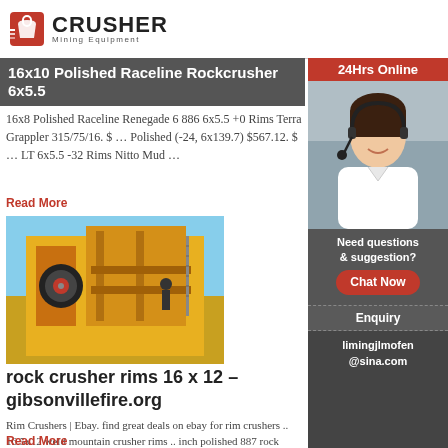CRUSHER Mining Equipment
16x10 Polished Raceline Rockcrusher 6x5.5
16x8 Polished Raceline Renegade 6 886 6x5.5 +0 Rims Terra Grappler 315/75/16. $ ... Polished (-24, 6x139.7) $567.12. $ ... LT 6x5.5 -32 Rims Nitto Mud ...
Read More
[Figure (photo): Industrial rock crusher / mining equipment — large yellow machinery with mechanical components]
rock crusher rims 16 x 12 – gibsonvillefire.org
Rim Crushers | Ebay. find great deals on ebay for rim crushers .. 16.5x12 weld mountain crusher rims .. inch polished 887 rock crusher raceline wheels ..
Read More
[Figure (photo): 24Hrs Online sidebar with customer service representative wearing headset, chat now button, enquiry section, and email contact limingjlmofen@sina.com]